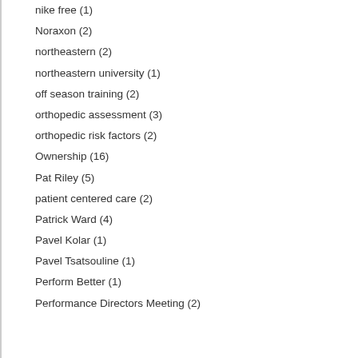nike free (1)
Noraxon (2)
northeastern (2)
northeastern university (1)
off season training (2)
orthopedic assessment (3)
orthopedic risk factors (2)
Ownership (16)
Pat Riley (5)
patient centered care (2)
Patrick Ward (4)
Pavel Kolar (1)
Pavel Tsatsouline (1)
Perform Better (1)
Performance Directors Meeting (2)